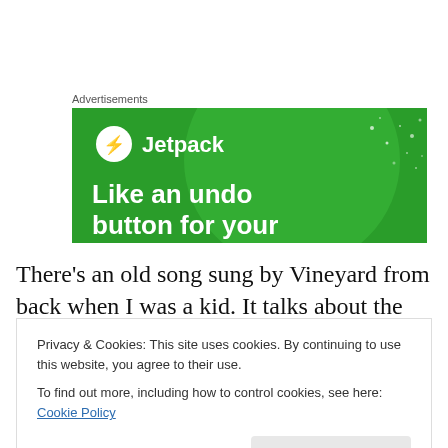Advertisements
[Figure (screenshot): Jetpack advertisement banner with green background showing a lightning bolt logo, 'Jetpack' text, and headline 'Like an undo button for your']
There's an old song sung by Vineyard from back when I was a kid.  It talks about the Refining Fire of the Holy Spirit
Privacy & Cookies: This site uses cookies. By continuing to use this website, you agree to their use.
To find out more, including how to control cookies, see here: Cookie Policy
God always has a plan where suffering is concerned.  It is